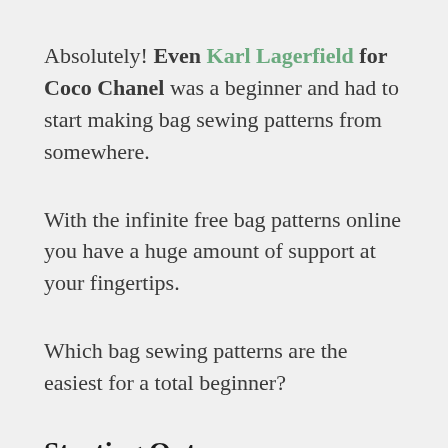Absolutely! Even Karl Lagerfield for Coco Chanel was a beginner and had to start making bag sewing patterns from somewhere.
With the infinite free bag patterns online you have a huge amount of support at your fingertips.
Which bag sewing patterns are the easiest for a total beginner?
Starting Out